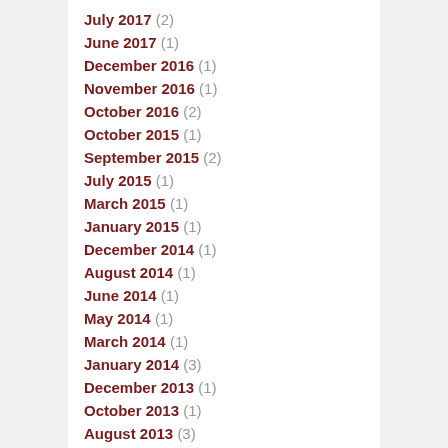July 2017 (2)
June 2017 (1)
December 2016 (1)
November 2016 (1)
October 2016 (2)
October 2015 (1)
September 2015 (2)
July 2015 (1)
March 2015 (1)
January 2015 (1)
December 2014 (1)
August 2014 (1)
June 2014 (1)
May 2014 (1)
March 2014 (1)
January 2014 (3)
December 2013 (1)
October 2013 (1)
August 2013 (3)
July 2013 (1)
June 2013 (1)